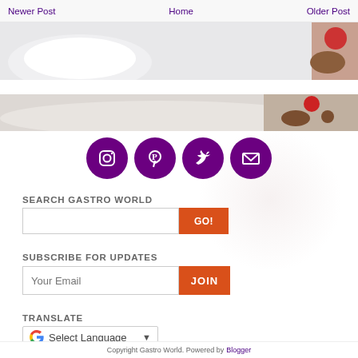Newer Post | Home | Older Post
[Figure (photo): Food/dessert photos at top of page]
[Figure (illustration): Social media icons: Instagram, Pinterest, Twitter, Email — purple circles]
SEARCH GASTRO WORLD
Search input box with GO! button
SUBSCRIBE FOR UPDATES
Your Email input with JOIN button
TRANSLATE
Google Translate: Select Language
Copyright Gastro World. Powered by Blogger